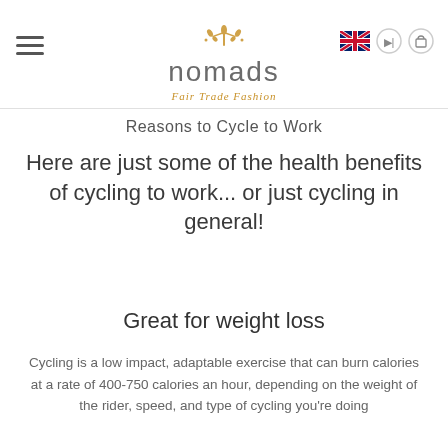[Figure (logo): Nomads Fair Trade Fashion logo with decorative plant/flower emblem above stylized text 'nomads' and italic subtitle 'Fair Trade Fashion']
Reasons to Cycle to Work
Here are just some of the health benefits of cycling to work... or just cycling in general!
Great for weight loss
Cycling is a low impact, adaptable exercise that can burn calories at a rate of 400-750 calories an hour, depending on the weight of the rider, speed, and type of cycling you're doing